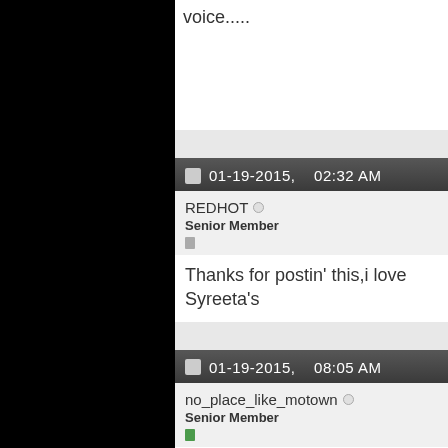voice.....
01-19-2015, 02:32 AM
REDHOT
Senior Member
Thanks for postin' this,i love Syreeta's
01-19-2015, 08:05 AM
no_place_like_motown
Senior Member
Originally Posted by carole cucumber
Just came across this:
http://www.imdb.com/title/tt0085647/sou